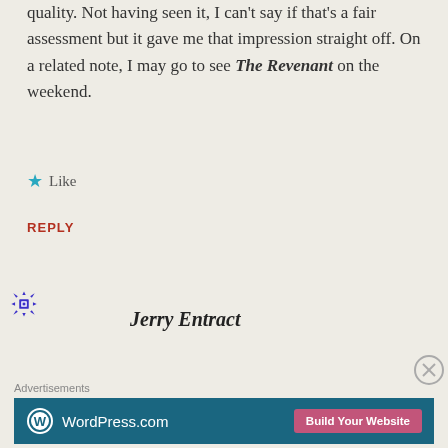quality. Not having seen it, I can't say if that's a fair assessment but it gave me that impression straight off. On a related note, I may go to see The Revenant on the weekend.
★ Like
REPLY
[Figure (illustration): WordPress-style avatar icon with blue/purple geometric snowflake/grid pattern]
Jerry Entract
Advertisements
[Figure (infographic): WordPress.com advertisement banner with teal background, WordPress logo, and 'Build Your Website' pink button]